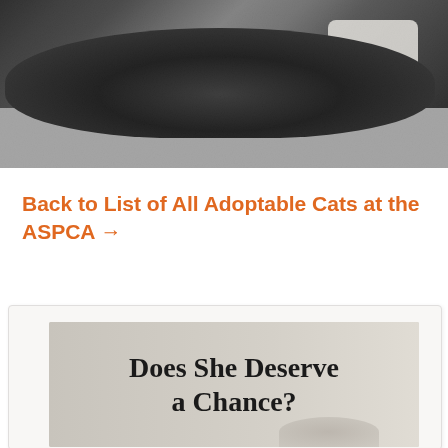[Figure (photo): A dark-furred cat lying on a grey sofa cushion with a white/cream pillow visible behind it. The cat appears to be resting or lounging.]
Back to List of All Adoptable Cats at the ASPCA →
[Figure (other): A promotional banner/image with text 'Does She Deserve a Chance?' in bold serif font over a light grey background, with a partial image of a cat visible at the bottom.]